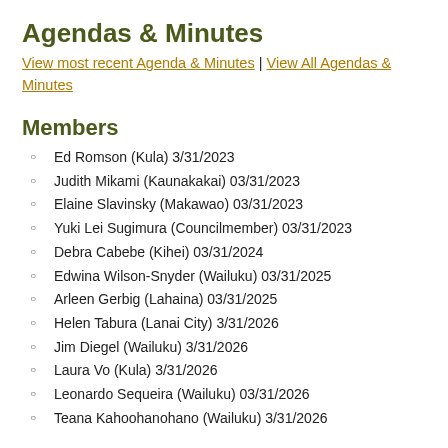Agendas & Minutes
View most recent Agenda & Minutes | View All Agendas & Minutes
Members
Ed Romson (Kula) 3/31/2023
Judith Mikami (Kaunakakai) 03/31/2023
Elaine Slavinsky (Makawao) 03/31/2023
Yuki Lei Sugimura (Councilmember) 03/31/2023
Debra Cabebe (Kihei) 03/31/2024
Edwina Wilson-Snyder (Wailuku) 03/31/2025
Arleen Gerbig (Lahaina) 03/31/2025
Helen Tabura (Lanai City) 3/31/2026
Jim Diegel (Wailuku) 3/31/2026
Laura Vo (Kula) 3/31/2026
Leonardo Sequeira (Wailuku) 03/31/2026
Teana Kahoohanohano (Wailuku) 3/31/2026